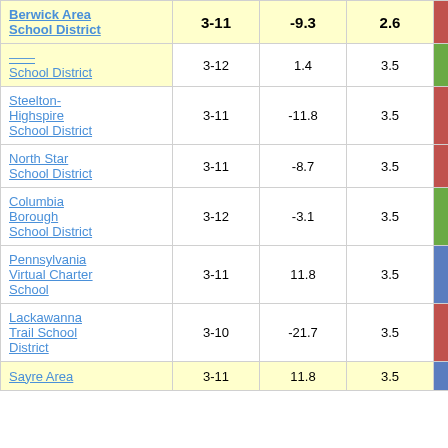| School District | Grades | Col3 | Col4 | Score | Extra |
| --- | --- | --- | --- | --- | --- |
| Berwick Area School District | 3-11 | -9.3 | 2.6 | -3.59 |  |
| [School District] | 3-12 | 1.4 | 3.5 | 0.41 |  |
| Steelton-Highspire School District | 3-11 | -11.8 | 3.5 | -3.40 |  |
| North Star School District | 3-11 | -8.7 | 3.5 | -2.51 |  |
| Columbia Borough School District | 3-12 | -3.1 | 3.5 | -0.89 |  |
| Pennsylvania Virtual Charter School | 3-11 | 11.8 | 3.5 | 3.37 |  |
| Lackawanna Trail School District | 3-10 | -21.7 | 3.5 | -6.20 |  |
| Sayre Area [School District] | 3-11 | 11.8 | 3.5 | 3.89 |  |